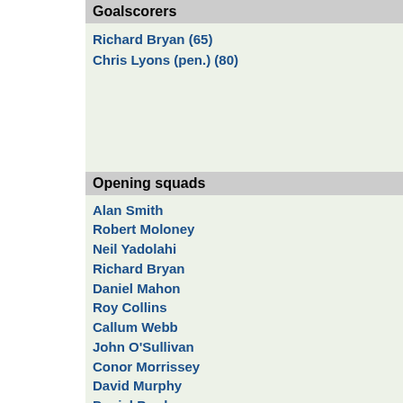Goalscorers
Richard Bryan (65)
Chris Lyons (pen.) (80)
Opening squads
Alan Smith
Robert Moloney
Neil Yadolahi
Richard Bryan
Daniel Mahon
Roy Collins
Callum Webb
John O'Sullivan
Conor Morrissey
David Murphy
Daniel Purdy
Substitutes
Sean Mc Dermott
Daniel Devine
Ellis Tebbutt
Brian Mc Grory
Adam Pigott
Carl Mc Hugh
Shane Byrne
Chris Lyons
Daniel Mc Guinness
Substitutions
Sean Mc Dermott -> Alan Smith (41)     Yaya Sanogo for K